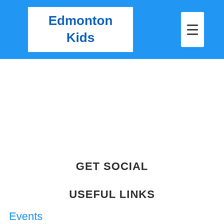Edmonton Kids
GET SOCIAL
USEFUL LINKS
Events